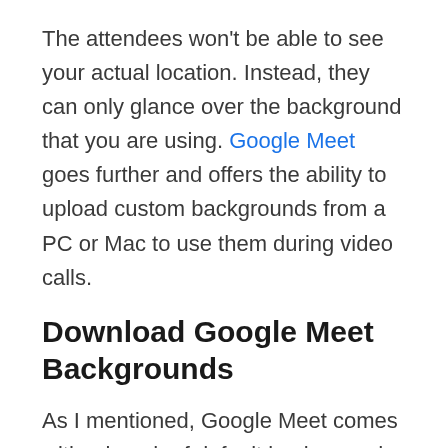The attendees won't be able to see your actual location. Instead, they can only glance over the background that you are using. Google Meet goes further and offers the ability to upload custom backgrounds from a PC or Mac to use them during video calls.
Download Google Meet Backgrounds
As I mentioned, Google Meet comes with a bunch of default background wallpapers to choose from. Users also can import one